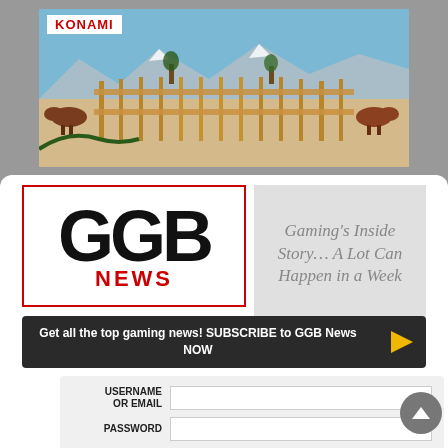[Figure (photo): Konami advertisement banner showing a ranch/farm scene with wooden fence, cattle, sandy ground, mountains and blue sky in the background. KONAMI logo in top-left corner.]
[Figure (logo): GGB News logo — large bold black letters GGB with red NEWS text below, inside a red-bordered box]
Gaming's Inside Story… A Lot Can Happen in a Week
Get all the top gaming news! SUBSCRIBE to GGB News NOW
USERNAME OR EMAIL
PASSWORD
Remember me
Lost your password?